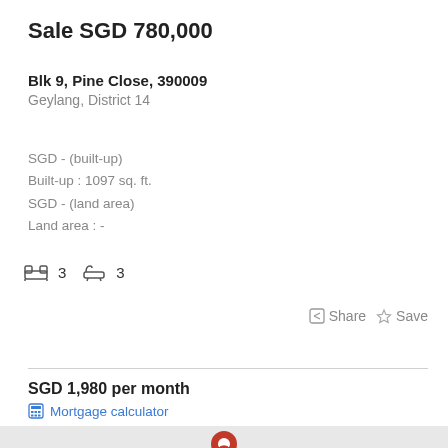Sale SGD 780,000
Blk 9, Pine Close, 390009
Geylang, District 14
SGD - (built-up)
Built-up : 1097 sq. ft.
SGD - (land area)
Land area : -
3 bedrooms   3 bathrooms
Share   Save
SGD 1,980 per month
Mortgage calculator
[Figure (map): Map view showing a location pin on a light grey map background.]